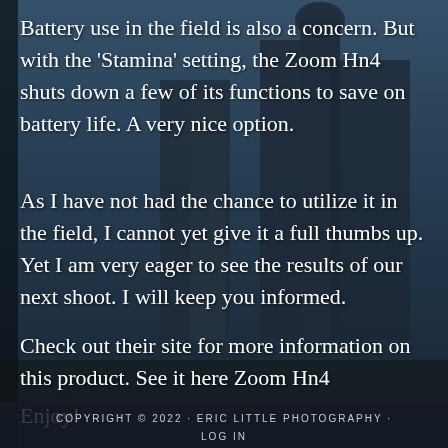[Figure (photo): Background photo of urban buildings/skyscrapers with blue sky, overlaid with dark semi-transparent layer]
Battery use in the field is also a concern. But with the ‘Stamina’ setting, the Zoom Hn4 shuts down a few of its functions to save on battery life. A very nice option.
As I have not had the chance to utilize it in the field, I cannot yet give it a full thumbs up. Yet I am very eager to see the results of our next shoot. I will keep you informed.
Check out their site for more information on this product. See it here Zoom Hn4
Enjoy!
COPYRIGHT © 2022 · ERIC LITTLE PHOTOGRAPHY ·
LOG IN